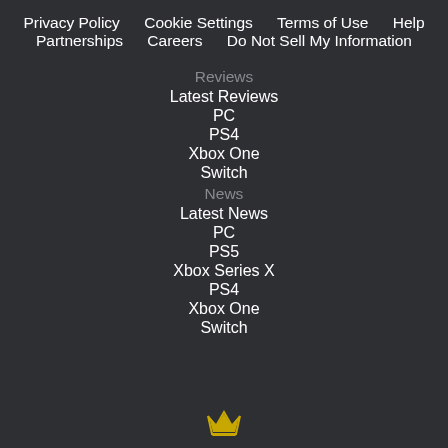Privacy Policy
Cookie Settings
Terms of Use
Help
Partnerships
Careers
Do Not Sell My Information
Reviews
Latest Reviews
PC
PS4
Xbox One
Switch
News
Latest News
PC
PS5
Xbox Series X
PS4
Xbox One
Switch
[Figure (logo): Small golden crown/logo icon at the bottom center of the page]